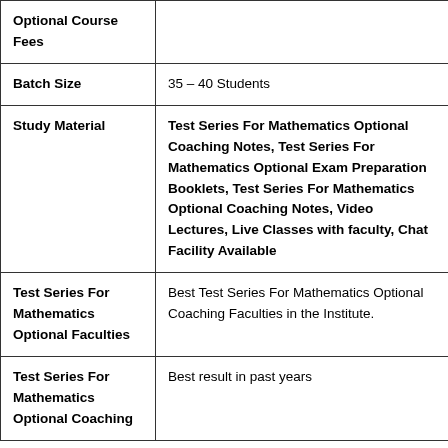| Category | Details |
| --- | --- |
| Optional Course Fees |  |
| Batch Size | 35 – 40 Students |
| Study Material | Test Series For Mathematics Optional Coaching Notes, Test Series For Mathematics Optional Exam Preparation Booklets, Test Series For Mathematics Optional Coaching Notes, Video Lectures, Live Classes with faculty, Chat Facility Available |
| Test Series For Mathematics Optional Faculties | Best Test Series For Mathematics Optional Coaching Faculties in the Institute. |
| Test Series For Mathematics Optional Coaching | Best result in past years |